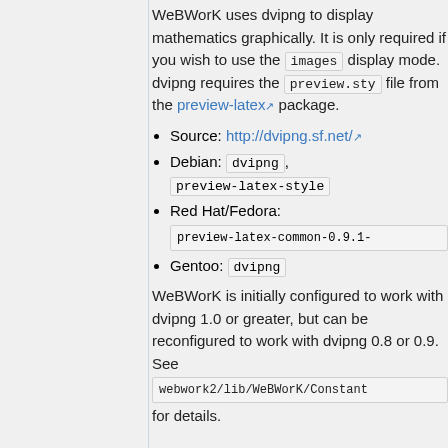WeBWorK uses dvipng to display mathematics graphically. It is only required if you wish to use the images display mode. dvipng requires the preview.sty file from the preview-latex package.
Source: http://dvipng.sf.net/
Debian: dvipng, preview-latex-style
Red Hat/Fedora: preview-latex-common-0.9.1-
Gentoo: dvipng
WeBWorK is initially configured to work with dvipng 1.0 or greater, but can be reconfigured to work with dvipng 0.8 or 0.9. See webwork2/lib/WeBWorK/Constant for details.